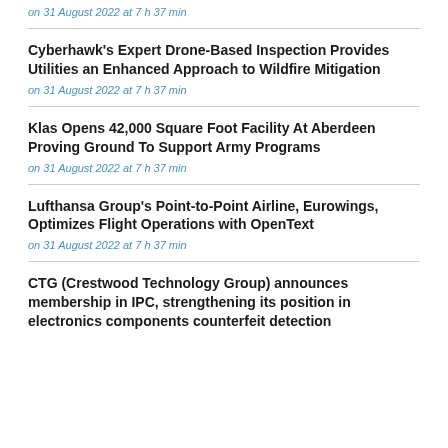on 31 August 2022 at 7 h 37 min
Cyberhawk's Expert Drone-Based Inspection Provides Utilities an Enhanced Approach to Wildfire Mitigation
on 31 August 2022 at 7 h 37 min
Klas Opens 42,000 Square Foot Facility At Aberdeen Proving Ground To Support Army Programs
on 31 August 2022 at 7 h 37 min
Lufthansa Group's Point-to-Point Airline, Eurowings, Optimizes Flight Operations with OpenText
on 31 August 2022 at 7 h 37 min
CTG (Crestwood Technology Group) announces membership in IPC, strengthening its position in electronics components counterfeit detection